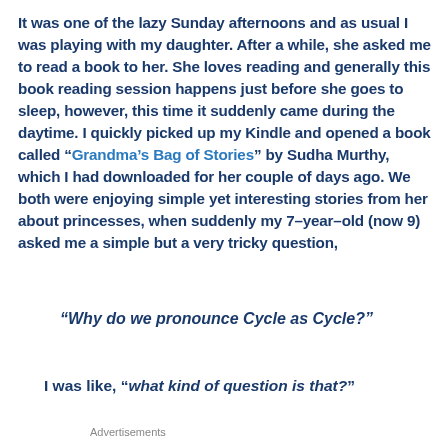It was one of the lazy Sunday afternoons and as usual I was playing with my daughter. After a while, she asked me to read a book to her. She loves reading and generally this book reading session happens just before she goes to sleep, however, this time it suddenly came during the daytime. I quickly picked up my Kindle and opened a book called “Grandma’s Bag of Stories” by Sudha Murthy, which I had downloaded for her couple of days ago. We both were enjoying simple yet interesting stories from her about princesses, when suddenly my 7–year–old (now 9) asked me a simple but a very tricky question,
“Why do we pronounce Cycle as Cycle?”
I was like, “what kind of question is that?”
Advertisements